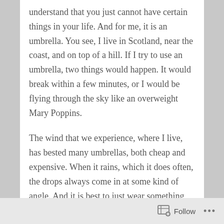understand that you just cannot have certain things in your life. And for me, it is an umbrella. You see, I live in Scotland, near the coast, and on top of a hill. If I try to use an umbrella, two things would happen. It would break within a few minutes, or I would be flying through the sky like an overweight Mary Poppins.
The wind that we experience, where I live, has bested many umbrellas, both cheap and expensive. When it rains, which it does often, the drops always come in at some kind of angle. And it is best to just wear something with a hood, and get on with it.
I think an umbrella can deal as (a bad) metaphor
Follow ···